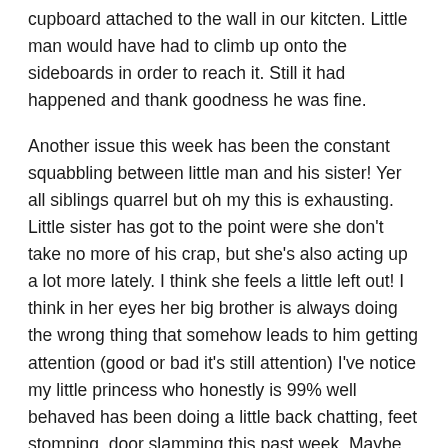cupboard attached to the wall in our kitcten. Little man would have had to climb up onto the sideboards in order to reach it. Still it had happened and thank goodness he was fine.
Another issue this week has been the constant squabbling between little man and his sister! Yer all siblings quarrel but oh my this is exhausting. Little sister has got to the point were she don't take no more of his crap, but she's also acting up a lot more lately. I think she feels a little left out! I think in her eyes her big brother is always doing the wrong thing that somehow leads to him getting attention (good or bad it's still attention) I've notice my little princess who honestly is 99% well behaved has been doing a little back chatting, feet stomping, door slamming this past week. Maybe some girl time is needed.